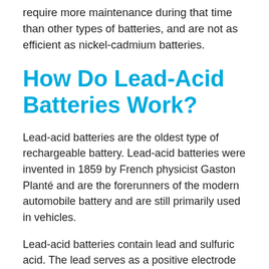require more maintenance during that time than other types of batteries, and are not as efficient as nickel-cadmium batteries.
How Do Lead-Acid Batteries Work?
Lead-acid batteries are the oldest type of rechargeable battery. Lead-acid batteries were invented in 1859 by French physicist Gaston Planté and are the forerunners of the modern automobile battery and are still primarily used in vehicles.
Lead-acid batteries contain lead and sulfuric acid. The lead serves as a positive electrode